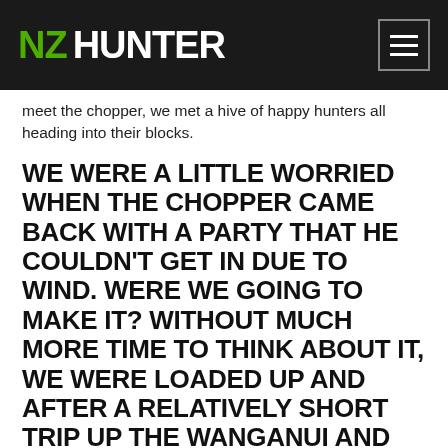NZ HUNTER
meet the chopper, we met a hive of happy hunters all heading into their blocks.
WE WERE A LITTLE WORRIED WHEN THE CHOPPER CAME BACK WITH A PARTY THAT HE COULDN'T GET IN DUE TO WIND. WERE WE GOING TO MAKE IT? WITHOUT MUCH MORE TIME TO THINK ABOUT IT, WE WERE LOADED UP AND AFTER A RELATIVELY SHORT TRIP UP THE WANGANUI AND UP ONTO A HIGH RIDGE, WE WERE THERE. A PARTY WAS THERE WAITING TO BE FLOWN OUT AND I WAS ABLE TO PICK THEIR BRAINS ABOUT THE BLOCK FOR